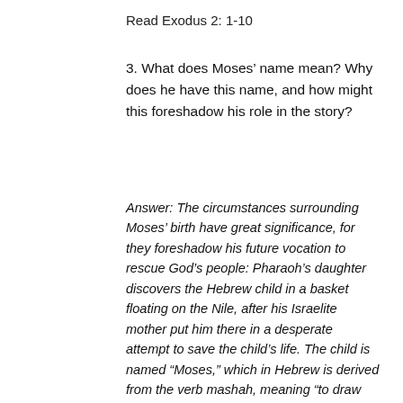Read Exodus 2: 1-10
3. What does Moses’ name mean? Why does he have this name, and how might this foreshadow his role in the story?
Answer: The circumstances surrounding Moses’ birth have great significance, for they foreshadow his future vocation to rescue God’s people: Pharaoh’s daughter discovers the Hebrew child in a basket floating on the Nile, after his Israelite mother put him there in a desperate attempt to save the child’s life. The child is named “Moses,” which in Hebrew is derived from the verb mashah, meaning “to draw out of.” The one who was saved by being drawn out of the dangerous waters of the Nile will later rescue Israel by drawing the people